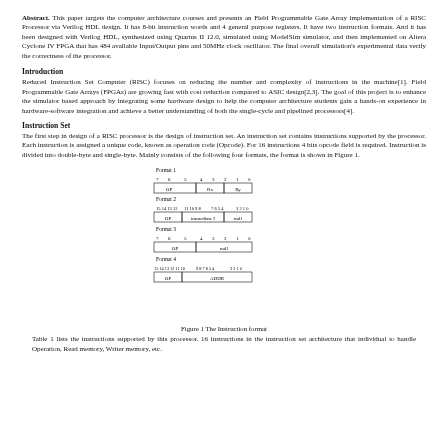Abstract. This paper targets the computer architecture courses and presents an Field Programmable Gate Array implementation of a RISC Processor via Verilog HDL design. It has 8-bit instruction words and 4 general purpose registers. It have two instruction formats. And it has been designed with Verilog HDL, synthesized using Quartus II 12.0, simulated using ModelSim simulator, and then implemented on Altera Cyclone IV FPGA that has 484 available Input/Output pins and 50MHz clock oscillator. The final overall simulation's experimental data verify the correctness of the processor.
Introduction
Reduced Instruction Set Computer (RISC) focuses on reducing the number and complexity of instructions in the machine[1]. Field Programmable Gate Arrays (FPGAs) are growing fast with cost reduction compared to ASIC design[2,3]. The goal of this project is to enhance the simulator based approach by integrating some hardware design to help the computer architecture students gain a hands-on experience in hardware-software integration and achieve a better understanding of both the single-cycle and pipelined processors[4].
Instruction Set
The first step in design of a RISC processor is the design of instruction set. An instruction set contains instructions supported by the processor. Each instruction is assigned a unique code, known as operation code (Opcode). For 16 instructions 4 bits opcode field is required. Instruction is divided into double-byte and single-byte. Mainly consists of the following four formats, the format is shown in Figure 1.
[Figure (schematic): Four instruction format diagrams: Format 1 (8-bit: bits 7-5 OP, bits 4-3 Rx, bits 1-0 Ry), Format 2 (16-bit: bits 15-12 OP, bits 11-8 immediate I, bits 7-0 null), Format 3 (8-bit: bits 7-5 OP, bits 4-0 null), Format 4 (16-bit: bits 15-12 OP, bits 11-0 ADDR)]
Figure 1 The Instruction format
Table 1 lists the instructions supported by this processor. 16 instructions in the instruction set architecture that individual to handle Operation, Read memory, Writer memory, etc.